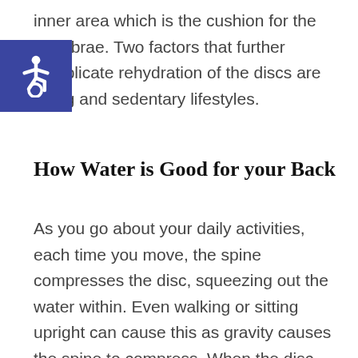inner area which is the cushion for the vertebrae. Two factors that further complicate rehydration of the discs are aging and sedentary lifestyles.
[Figure (logo): Blue square accessibility badge with white wheelchair user icon]
How Water is Good for your Back
As you go about your daily activities, each time you move, the spine compresses the disc, squeezing out the water within. Even walking or sitting upright can cause this as gravity causes the spine to compress. When the disc does not have adequate water, the result is pain and lack of mobility as well as increased risk of spinal injury.